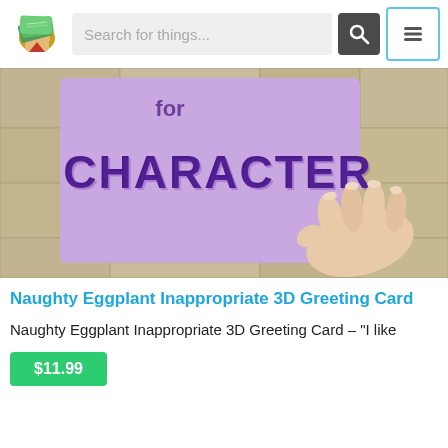[Figure (screenshot): Website navigation bar with a superhero/money logo on the left, a search bar with placeholder 'Search for things...', a dark search button with magnifying glass icon, and a menu burger button with cyan border on the right]
[Figure (photo): A hand holding a purple greeting card that reads 'CHARACTER' in bold purple 3D-style letters, with 'for' partially visible at the top. Background is a stone wall texture.]
Naughty Eggplant Inappropriate 3D Greeting Card
Naughty Eggplant Inappropriate 3D Greeting Card – "I like
$11.99